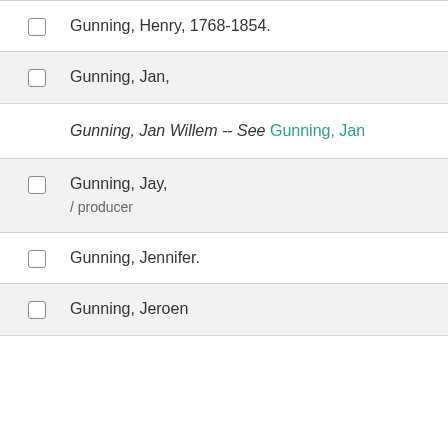Gunning, Henry, 1768-1854.
Gunning, Jan,
Gunning, Jan Willem -- See Gunning, Jan
Gunning, Jay, / producer
Gunning, Jennifer.
Gunning, Jeroen